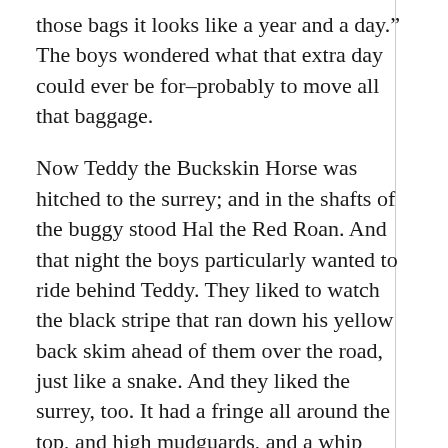those bags it looks like a year and a day.” The boys wondered what that extra day could ever be for–probably to move all that baggage.
Now Teddy the Buckskin Horse was hitched to the surrey; and in the shafts of the buggy stood Hal the Red Roan. And that night the boys particularly wanted to ride behind Teddy. They liked to watch the black stripe that ran down his yellow back skim ahead of them over the road, just like a snake. And they liked the surrey, too. It had a fringe all around the top, and high mudguards, and a whip